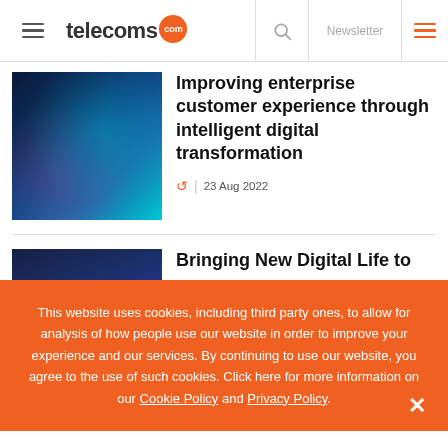telecoms.com — Newsletter
[Figure (photo): Abstract digital technology image with blue and teal tones, circuit-like patterns]
Improving enterprise customer experience through intelligent digital transformation
23 Aug 2022
[Figure (photo): Dark blue abstract image]
Bringing New Digital Life to
This website uses cookies, including third party ones, to allow for analysis of how people use our website in order to improve your experience and our services. By continuing to use our website, you agree to the use of such cookies. Click here for more information on our Cookie Policy and Privacy Policy.